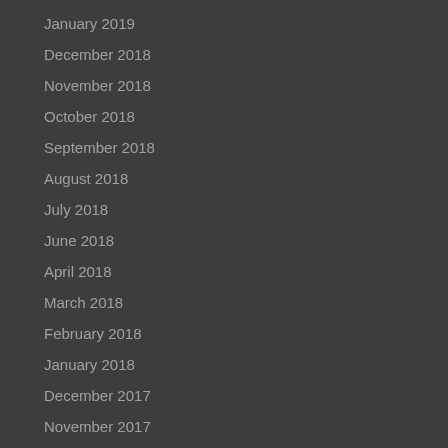January 2019
December 2018
November 2018
October 2018
September 2018
August 2018
July 2018
June 2018
April 2018
March 2018
February 2018
January 2018
December 2017
November 2017